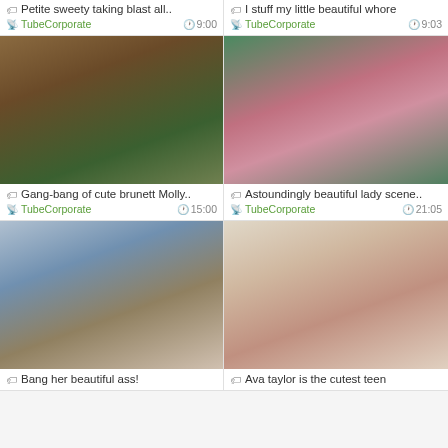[Figure (photo): Thumbnail image - top left video]
Petite sweety taking blast all..
TubeCorporate  9:00
[Figure (photo): Thumbnail image - top right video]
I stuff my little beautiful whore
TubeCorporate  9:03
[Figure (photo): Thumbnail image - middle left video]
Gang-bang of cute brunett Molly..
TubeCorporate  15:00
[Figure (photo): Thumbnail image - middle right video]
Astoundingly beautiful lady scene..
TubeCorporate  21:05
[Figure (photo): Thumbnail image - bottom left video]
Bang her beautiful ass!
[Figure (photo): Thumbnail image - bottom right video]
Ava taylor is the cutest teen